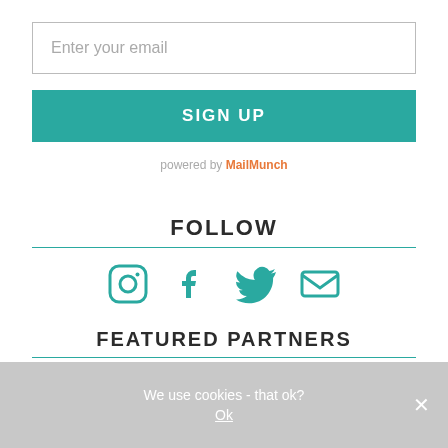Enter your email
SIGN UP
powered by MailMunch
FOLLOW
[Figure (infographic): Four social media icons in teal: Instagram, Facebook, Twitter, Email]
FEATURED PARTNERS
We use cookies - that ok?
Ok